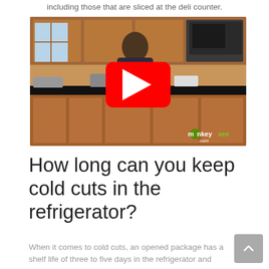including those that are sliced at the deli counter.
[Figure (screenshot): YouTube video thumbnail showing a person standing in a kitchen behind a counter with food items. A red YouTube play button is overlaid in the center. The monkeysee.com logo appears in the bottom right corner.]
How long can you keep cold cuts in the refrigerator?
When it comes to cold cuts, an opened package has a shelf life of three to five days in the refrigerator and